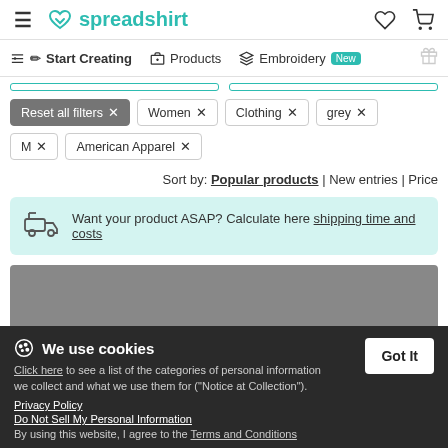spreadshirt — Start Creating | Products | Embroidery New
Reset all filters × Women × Clothing × grey × M × American Apparel ×
Sort by: Popular products | New entries | Price
Want your product ASAP? Calculate here shipping time and costs
Unisex Fleece Zip Hoodie ★★★★☆ (126)
We use cookies
Click here to see a list of the categories of personal information we collect and what we use them for ("Notice at Collection").
Privacy Policy
Do Not Sell My Personal Information
By using this website, I agree to the Terms and Conditions